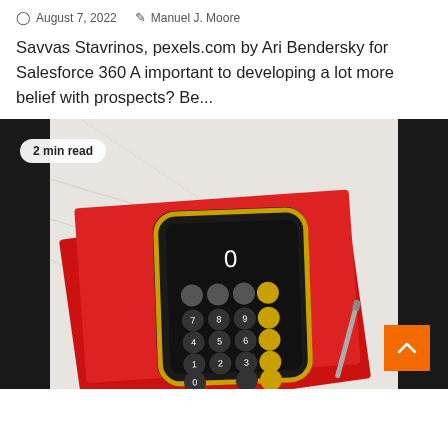August 7, 2022  Manuel J. Moore
Savvas Stavrinos, pexels.com by Ari Bendersky for Salesforce 360 A important to developing a lot more belief with prospects? Be...
[Figure (photo): A smartphone showing a calculator app with orange and grey buttons, placed on red leather notebooks on a marble surface, with dark borders on either side. A badge reads '2 min read'. An orange scroll-to-top button is visible in the lower right.]